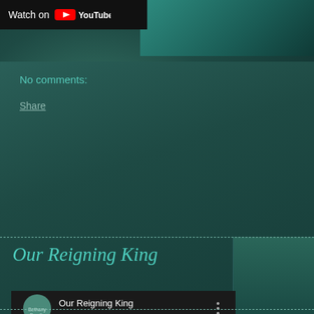[Figure (screenshot): YouTube 'Watch on YouTube' bar at top left with YouTube logo]
No comments:
Share
Our Reigning King
[Figure (screenshot): YouTube embedded video player showing 'Our Reigning King' with channel icon, title, menu button, play button overlay, and video thumbnail of teal/dark abstract imagery with text 'Our Reigning King']